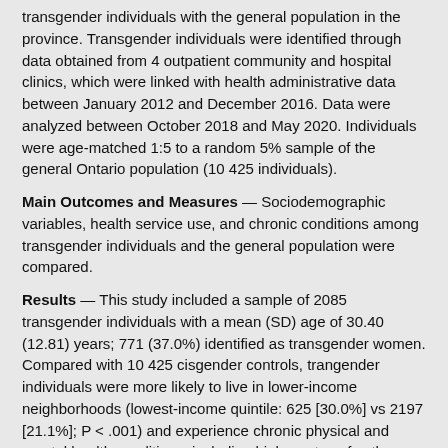transgender individuals with the general population in the province. Transgender individuals were identified through data obtained from 4 outpatient community and hospital clinics, which were linked with health administrative data between January 2012 and December 2016. Data were analyzed between October 2018 and May 2020. Individuals were age-matched 1:5 to a random 5% sample of the general Ontario population (10 425 individuals).
Main Outcomes and Measures — Sociodemographic variables, health service use, and chronic conditions among transgender individuals and the general population were compared.
Results — This study included a sample of 2085 transgender individuals with a mean (SD) age of 30.40 (12.81) years; 771 (37.0%) identified as transgender women. Compared with 10 425 cisgender controls, trangender individuals were more likely to live in lower-income neighborhoods (lowest-income quintile: 625 [30.0%] vs 2197 [21.1%]; P < .001) and experience chronic physical and mental health conditions, including higher rates of asthma (489 [23.5%] vs 2034 [19.5%]; P < .001), diabetes (115 [5.5%] vs 352 [3.4%]; P < .001), chronic obstructive pulmonary disease (51 [2.4%] vs 156 [1.5%]; P < .001), and HIV (34 [1.6%] vs 12 [0.1%]; P < .001). Comorbid chronic health conditions were higher among the transgender population compared with the cisgender population (702 [33.7%] vs 2941 [28.2%]; P < .001).